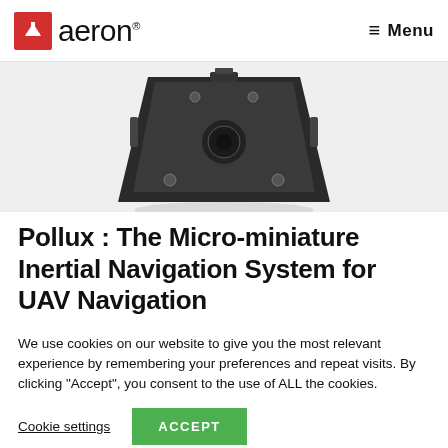aeron® — Menu
[Figure (photo): Bottom view of the Pollux micro-miniature inertial navigation system unit, a dark metallic trapezoidal/triangular shaped device with mounting hardware visible.]
Pollux : The Micro-miniature Inertial Navigation System for UAV Navigation
We use cookies on our website to give you the most relevant experience by remembering your preferences and repeat visits. By clicking "Accept", you consent to the use of ALL the cookies.
Cookie settings    ACCEPT